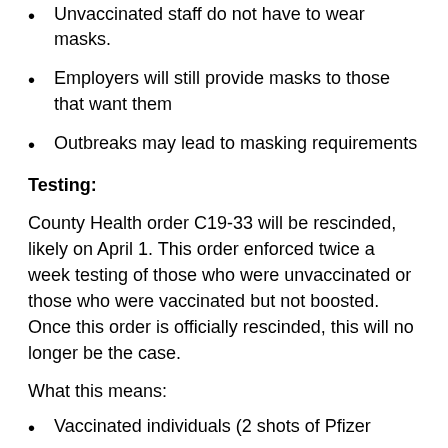Unvaccinated staff do not have to wear masks.
Employers will still provide masks to those that want them
Outbreaks may lead to masking requirements
Testing:
County Health order C19-33 will be rescinded, likely on April 1. This order enforced twice a week testing of those who were unvaccinated or those who were vaccinated but not boosted. Once this order is officially rescinded, this will no longer be the case.
What this means:
Vaccinated individuals (2 shots of Pfizer